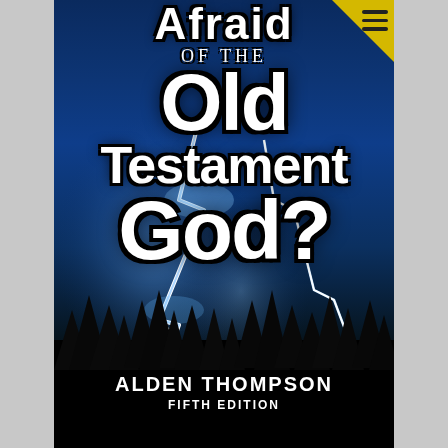[Figure (illustration): Book cover for 'Afraid of the Old Testament God?' by Alden Thompson, Fifth Edition. Dark blue stormy sky with dramatic lightning strikes, silhouette of trees at the bottom. Large bold white text with black outline displays the title. A yellow triangular corner tag in the top-right with a hamburger menu icon.]
AFRAID OF THE Old Testament God?
ALDEN THOMPSON
FIFTH EDITION